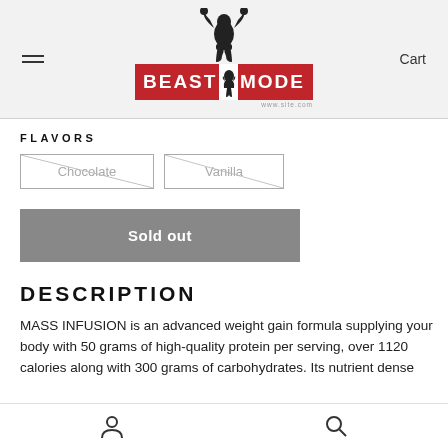[Figure (logo): Beast Mode logo with muscular figure flexing above a red banner reading BEAST MODE]
FLAVORS
Chocolate  Vanilla (both sold out, shown with diagonal strikethrough)
Sold out
DESCRIPTION
MASS INFUSION is an advanced weight gain formula supplying your body with 50 grams of high-quality protein per serving, over 1120 calories along with 300 grams of carbohydrates. Its nutrient dense